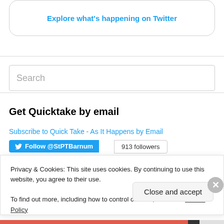[Figure (screenshot): Twitter 'Explore what's happening on Twitter' button inside a rounded border box]
[Figure (screenshot): Search input box with placeholder text 'Search']
Get Quicktake by email
Subscribe to Quick Take - As It Happens by Email
[Figure (screenshot): Twitter Follow @StPTBarnum button with 913 followers badge]
Privacy & Cookies: This site uses cookies. By continuing to use this website, you agree to their use.
To find out more, including how to control cookies, see here: Cookie Policy
[Figure (screenshot): Close and accept button at bottom right of cookie popup]